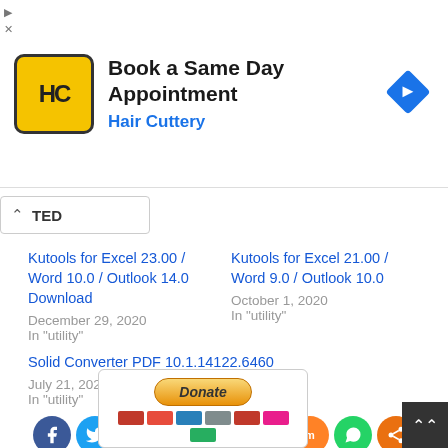[Figure (other): Advertisement banner: Hair Cuttery - Book a Same Day Appointment]
TED
Kutools for Excel 23.00 / Word 10.0 / Outlook 14.0 Download
December 29, 2020
In "utility"
Kutools for Excel 21.00 / Word 9.0 / Outlook 10.0
October 1, 2020
In "utility"
Solid Converter PDF 10.1.14122.6460
July 21, 2022
In "utility"
[Figure (other): Social sharing icons row: Facebook, Twitter, Reddit, LinkedIn, Pinterest, MeWe, Mix, WhatsApp, Share]
[Figure (other): Donate button with PayPal and credit card payment options]